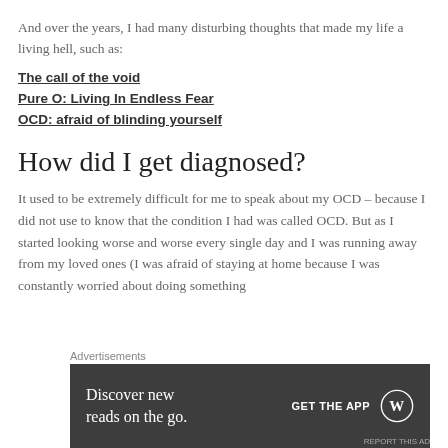And over the years, I had many disturbing thoughts that made my life a living hell, such as:
The call of the void
Pure O: Living In Endless Fear
OCD: afraid of blinding yourself
How did I get diagnosed?
It used to be extremely difficult for me to speak about my OCD – because I did not use to know that the condition I had was called OCD. But as I started looking worse and worse every single day and I was running away from my loved ones (I was afraid of staying at home because I was constantly worried about doing something
Advertisements
Discover new reads on the go. GET THE APP